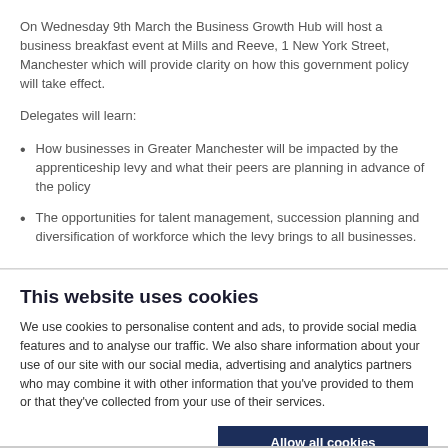On Wednesday 9th March the Business Growth Hub will host a business breakfast event at Mills and Reeve, 1 New York Street, Manchester which will provide clarity on how this government policy will take effect.
Delegates will learn:
How businesses in Greater Manchester will be impacted by the apprenticeship levy and what their peers are planning in advance of the policy
The opportunities for talent management, succession planning and diversification of workforce which the levy brings to all businesses.
This website uses cookies
We use cookies to personalise content and ads, to provide social media features and to analyse our traffic. We also share information about your use of our site with our social media, advertising and analytics partners who may combine it with other information that you've provided to them or that they've collected from your use of their services.
Allow all cookies
Allow selection
Use necessary cookies only